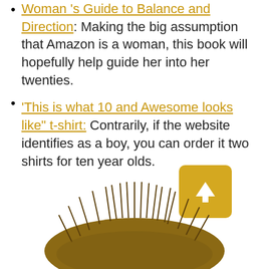Woman 's Guide to Balance and Direction: Making the big assumption that Amazon is a woman, this book will hopefully help guide her into her twenties.
'This is what 10 and Awesome looks like" t-shirt: Contrarily, if the website identifies as a boy, you can order it two shirts for ten year olds.
[Figure (photo): A hedgehog (or furry creature) viewed from above with a yellow button showing an upward arrow overlaid on the right side.]